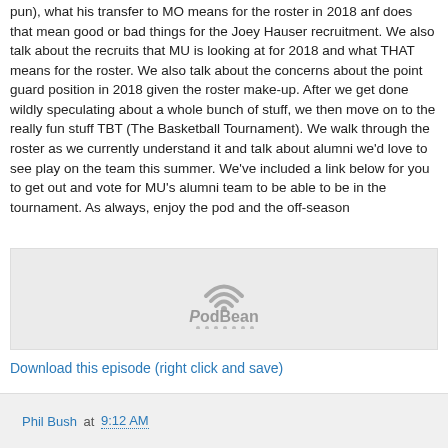pun), what his transfer to MO means for the roster in 2018 anf does that mean good or bad things for the Joey Hauser recruitment. We also talk about the recruits that MU is looking at for 2018 and what THAT means for the roster. We also talk about the concerns about the point guard position in 2018 given the roster make-up. After we get done wildly speculating about a whole bunch of stuff, we then move on to the really fun stuff TBT (The Basketball Tournament). We walk through the roster as we currently understand it and talk about alumni we'd love to see play on the team this summer. We've included a link below for you to get out and vote for MU's alumni team to be able to be in the tournament. As always, enjoy the pod and the off-season
[Figure (logo): PodBean podcast player logo with wifi/arc icon above the text 'PodBean' and dots beneath]
Download this episode (right click and save)
Phil Bush at 9:12 AM